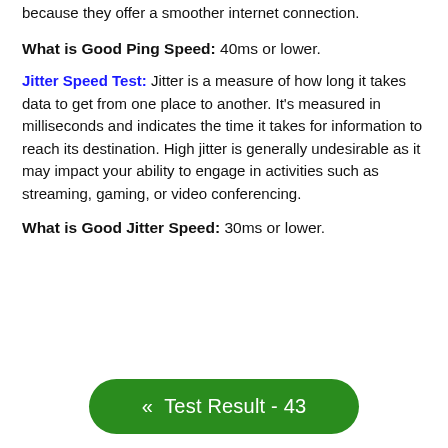because they offer a smoother internet connection.
What is Good Ping Speed: 40ms or lower.
Jitter Speed Test: Jitter is a measure of how long it takes data to get from one place to another. It's measured in milliseconds and indicates the time it takes for information to reach its destination. High jitter is generally undesirable as it may impact your ability to engage in activities such as streaming, gaming, or video conferencing.
What is Good Jitter Speed: 30ms or lower.
« Test Result - 43